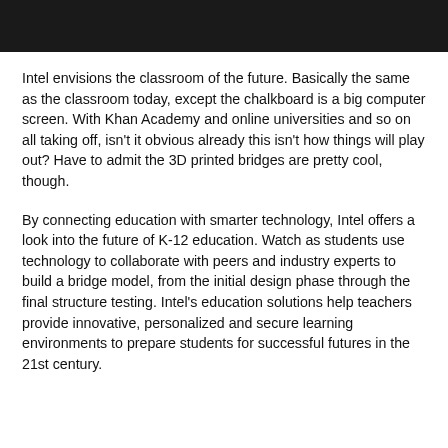[Figure (photo): Black bar at top of page, likely a header image or banner]
Intel envisions the classroom of the future. Basically the same as the classroom today, except the chalkboard is a big computer screen. With Khan Academy and online universities and so on all taking off, isn't it obvious already this isn't how things will play out? Have to admit the 3D printed bridges are pretty cool, though.
By connecting education with smarter technology, Intel offers a look into the future of K-12 education. Watch as students use technology to collaborate with peers and industry experts to build a bridge model, from the initial design phase through the final structure testing. Intel's education solutions help teachers provide innovative, personalized and secure learning environments to prepare students for successful futures in the 21st century.